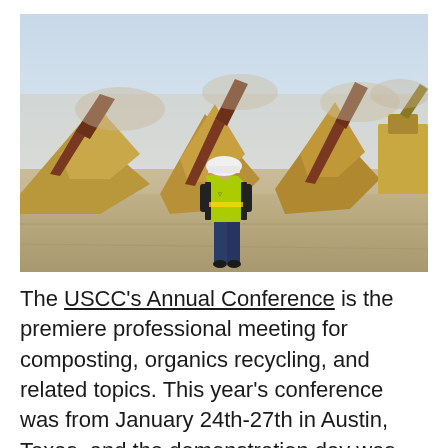[Figure (photo): Outdoor industrial composting / waste processing site. A worker wearing a bright yellow/green high-visibility vest and white hard hat stands with back to camera, looking out at multiple large conveyor/sorting machines and large piles of chipped wood or organic material. Dust fills the air. Heavy equipment (excavators) visible in background. Overcast sky.]
The USCC's Annual Conference is the premiere professional meeting for composting, organics recycling, and related topics. This year's conference was from January 24th-27th in Austin, Texas, and the demonstration day was held at the Texas Disposal